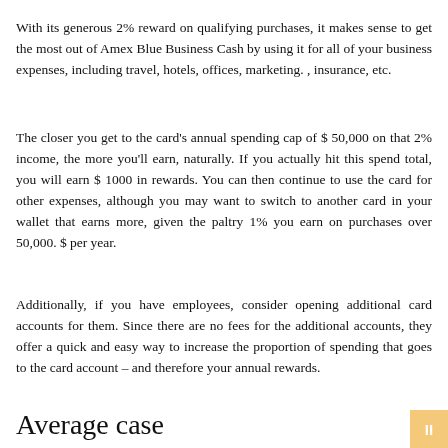With its generous 2% reward on qualifying purchases, it makes sense to get the most out of Amex Blue Business Cash by using it for all of your business expenses, including travel, hotels, offices, marketing. , insurance, etc.
The closer you get to the card's annual spending cap of $ 50,000 on that 2% income, the more you'll earn, naturally. If you actually hit this spend total, you will earn $ 1000 in rewards. You can then continue to use the card for other expenses, although you may want to switch to another card in your wallet that earns more, given the paltry 1% you earn on purchases over 50,000. $ per year.
Additionally, if you have employees, consider opening additional card accounts for them. Since there are no fees for the additional accounts, they offer a quick and easy way to increase the proportion of spending that goes to the card account – and therefore your annual rewards.
Average case